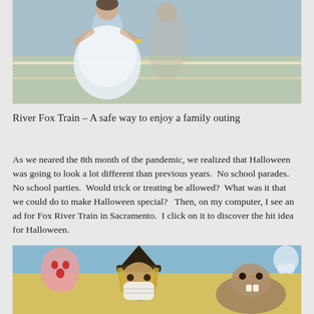[Figure (photo): Photo of a child wearing a white tulle dress (princess/ballerina costume) with a yellow wristband, standing outdoors near what appears to be a road or pavement.]
River Fox Train – A safe way to enjoy a family outing
As we neared the 8th month of the pandemic, we realized that Halloween was going to look a lot different than previous years.  No school parades.  No school parties.  Would trick or treating be allowed?  What was it that we could do to make Halloween special?   Then, on my computer, I see an ad for Fox River Train in Sacramento.  I click on it to discover the hit idea for Halloween.
[Figure (photo): Photo of a person wearing a witch costume and mask (face mask for COVID), shown in front of a colorful Halloween-themed illustrated backdrop featuring a ghost, witch, and beaver/animal characters.]